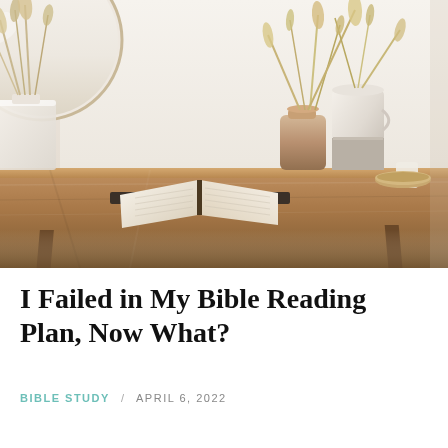[Figure (photo): A styled wooden console table with an open Bible/book, two ceramic vases (one tall white, one shorter tan/brown), dried pampas grass, a small bowl, and a round mirror on the wall in the background. Warm, minimalist aesthetic with neutral tones.]
I Failed in My Bible Reading Plan, Now What?
BIBLE STUDY  /  APRIL 6, 2022